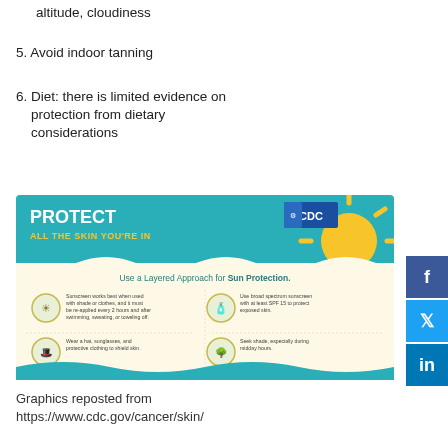altitude, cloudiness
5. Avoid indoor tanning
6. Diet: there is limited evidence on protection from dietary considerations
[Figure (infographic): CDC infographic: PROTECT ALL THE SKIN YOU'RE IN. Use a Layered Approach for Sun Protection. Four tips: Sunscreen works best when used with shade or clothes, and it must be re-applied every 2 hours and after swimming, sweating, or toweling off. Use broad spectrum sunscreen with at least SPF 15 to protect exposed skin. Wear a hat, sunglasses, and protective clothing to shield skin. Seek shade, especially during midday hours.]
Graphics reposted from https://www.cdc.gov/cancer/skin/